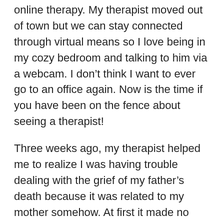online therapy. My therapist moved out of town but we can stay connected through virtual means so I love being in my cozy bedroom and talking to him via a webcam. I don't think I want to ever go to an office again. Now is the time if you have been on the fence about seeing a therapist!
Three weeks ago, my therapist helped me to realize I was having trouble dealing with the grief of my father's death because it was related to my mother somehow. At first it made no sense but it slowly dawned on me that I really never spent any time with a professional on my childhood traumas. I have always just put a bandaid on and plodded on because there was always “something more important” happening. Yesterday in therapy I realized that now that Daddy is gone I am left to face the realities of my past. All this time I was just coping